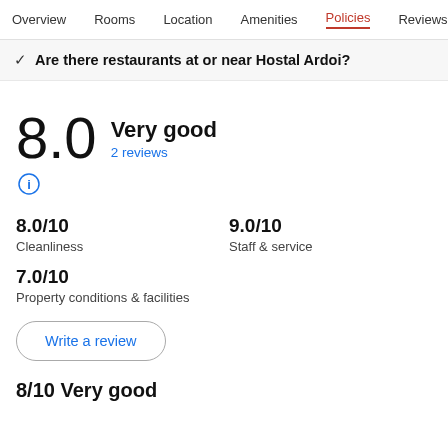Overview   Rooms   Location   Amenities   Policies   Reviews
✓ Are there restaurants at or near Hostal Ardoi?
8.0  Very good
2 reviews
8.0/10
Cleanliness
9.0/10
Staff & service
7.0/10
Property conditions & facilities
Write a review
8/10 Very good